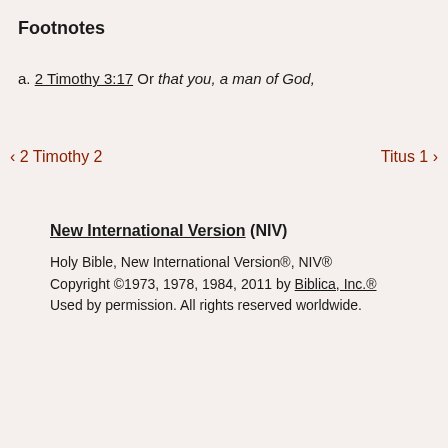Footnotes
a. 2 Timothy 3:17 Or that you, a man of God,
< 2 Timothy 2    Titus 1 >
New International Version (NIV)
Holy Bible, New International Version®, NIV® Copyright ©1973, 1978, 1984, 2011 by Biblica, Inc.® Used by permission. All rights reserved worldwide.